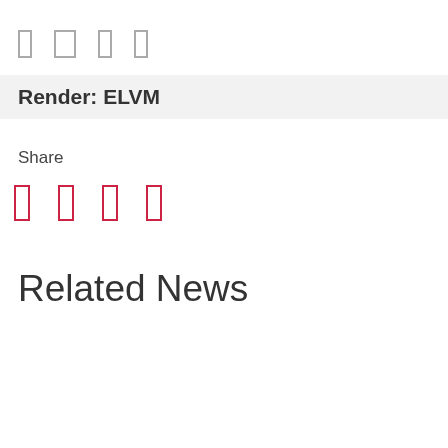[Figure (other): Four small gray icon rectangles arranged horizontally (navigation/social icons)]
Render: ELVM
Share
[Figure (other): Four small red/pink outlined icon rectangles arranged horizontally (share icons)]
Related News